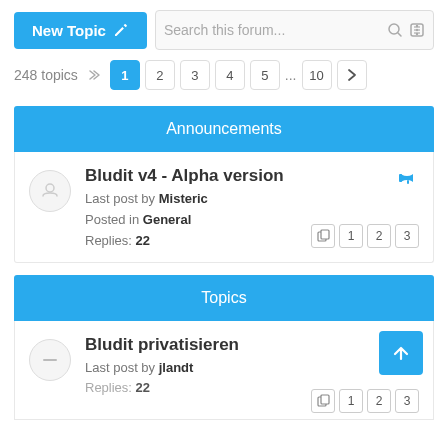New Topic
Search this forum...
248 topics  1 2 3 4 5 ... 10 >
Announcements
Bludit v4 - Alpha version
Last post by Misteric
Posted in General
Replies: 22
Topics
Bludit privatisieren
Last post by jlandt
Replies: 22